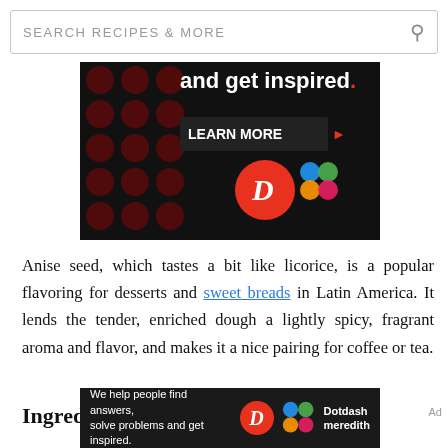SEARCH RECIPES & MORE
[Figure (screenshot): Dark advertisement banner with text 'and get inspired.' LEARN MORE button, Dotdash D logo in red circle, and colorful Meredith logo]
Anise seed, which tastes a bit like licorice, is a popular flavoring for desserts and sweet breads in Latin America. It lends the tender, enriched dough a lightly spicy, fragrant aroma and flavor, and makes it a nice pairing for coffee or tea.
Ingredients
[Figure (screenshot): Dark advertisement banner: We help people find answers, solve problems and get inspired. Dotdash Meredith logo.]